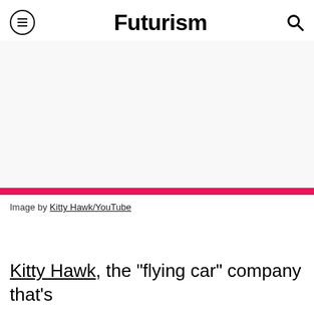Futurism
[Figure (photo): Image placeholder area for a Kitty Hawk flying car video still from YouTube]
Image by Kitty Hawk/YouTube
Kitty Hawk, the "flying car" company that's